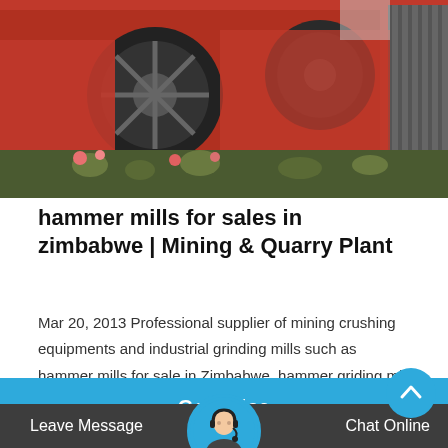[Figure (photo): Large red industrial hammer mill machine with black flywheel and metal housing, with green plants and flowers visible at the base.]
hammer mills for sales in zimbabwe | Mining & Quarry Plant
Mar 20, 2013 Professional supplier of mining crushing equipments and industrial grinding mills such as hammer mills for sale in Zimbabwe. hammer griding mill for sale in zim – iron ore crusher,…
Get Price
Leave Message
Chat Online